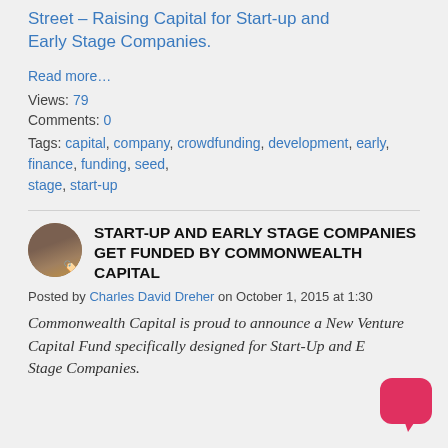Street – Raising Capital for Start-up and Early Stage Companies.
Read more…
Views: 79
Comments: 0
Tags: capital, company, crowdfunding, development, early, finance, funding, seed, stage, start-up
START-UP AND EARLY STAGE COMPANIES GET FUNDED BY COMMONWEALTH CAPITAL
Posted by Charles David Dreher on October 1, 2015 at 1:30
Commonwealth Capital is proud to announce a New Venture Capital Fund specifically designed for Start-Up and Early Stage Companies.